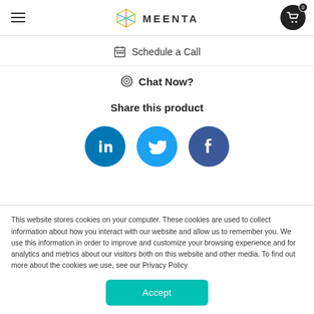MEENTA
Schedule a Call
Chat Now?
Share this product
[Figure (illustration): Three social media share buttons: LinkedIn (blue circle with 'in' icon), Twitter (light blue circle with bird icon), Facebook (dark blue circle with 'f' icon)]
This website stores cookies on your computer. These cookies are used to collect information about how you interact with our website and allow us to remember you. We use this information in order to improve and customize your browsing experience and for analytics and metrics about our visitors both on this website and other media. To find out more about the cookies we use, see our Privacy Policy
Accept